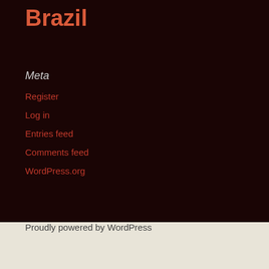Brazil
Meta
Register
Log in
Entries feed
Comments feed
WordPress.org
Proudly powered by WordPress